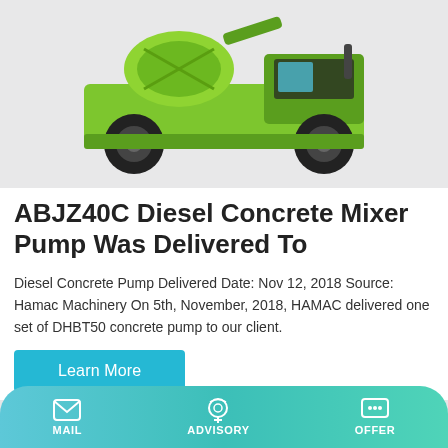[Figure (photo): A green ABJZ40C Diesel Concrete Mixer Pump machine photographed on a light gray background, showing large wheels and mixing drum from front-right angle.]
ABJZ40C Diesel Concrete Mixer Pump Was Delivered To
Diesel Concrete Pump Delivered Date: Nov 12, 2018 Source: Hamac Machinery On 5th, November, 2018, HAMAC delivered one set of DHBT50 concrete pump to our client.
Learn More
[Figure (photo): Bottom portion of a green concrete pump machine with cab visible, light gray background.]
MAIL   ADVISORY   OFFER